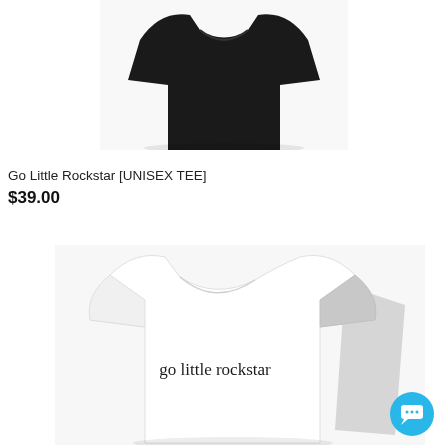[Figure (photo): Black unisex t-shirt folded/laid flat, photographed from above on white background, top portion visible]
Go Little Rockstar [UNISEX TEE]
$39.00
[Figure (photo): White unisex t-shirt laid flat on white background with text 'go little rockstar' printed on the chest in small serif font]
[Figure (other): Blue circular chat support button with speech bubble icon in bottom right corner]